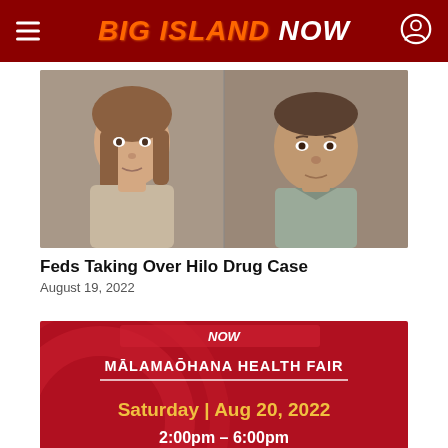Big Island Now
[Figure (photo): Mugshot-style photo of two individuals, a woman on the left and a man on the right, against a plain background]
Feds Taking Over Hilo Drug Case
August 19, 2022
[Figure (photo): Red banner image for Malama Ohana Health Fair showing event details: Saturday Aug 20 2022, 2:00pm - 6:00pm, Kealakehe Pavilion]
Kona Mālamaʻ Ohana Health Fair Taking Pla...